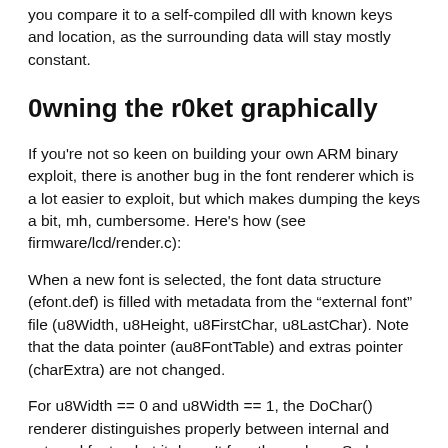you compare it to a self-compiled dll with known keys and location, as the surrounding data will stay mostly constant.
0wning the r0ket graphically
If you're not so keen on building your own ARM binary exploit, there is another bug in the font renderer which is a lot easier to exploit, but which makes dumping the keys a bit, mh, cumbersome. Here's how (see firmware/lcd/render.c):
When a new font is selected, the font data structure (efont.def) is filled with metadata from the “external font” file (u8Width, u8Height, u8FirstChar, u8LastChar). Note that the data pointer (au8FontTable) and extras pointer (charExtra) are not changed.
For u8Width == 0 and u8Width == 1, the DoChar() renderer distinguishes properly between internal and external fonts - but it doesn't for other values. So by installing a .f0n file which only contains the bytes